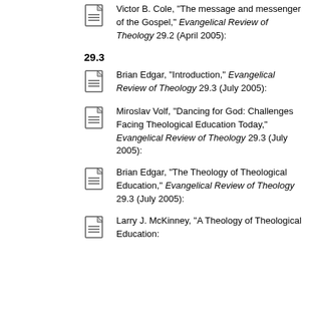Evangelical Review of Theology 29.2 (April 2005):
Victor B. Cole, "The message and messenger of the Gospel," Evangelical Review of Theology 29.2 (April 2005):
29.3
Brian Edgar, "Introduction," Evangelical Review of Theology 29.3 (July 2005):
Miroslav Volf, "Dancing for God: Challenges Facing Theological Education Today," Evangelical Review of Theology 29.3 (July 2005):
Brian Edgar, "The Theology of Theological Education," Evangelical Review of Theology 29.3 (July 2005):
Larry J. McKinney, "A Theology of Theological Education: